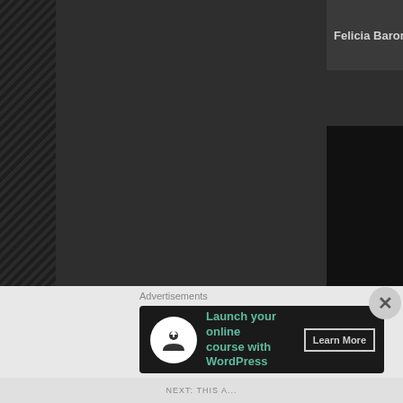Felicia Baron (Filipino Community of A...
[Figure (photo): Portrait photo of a smiling young Filipino woman with dark hair, pearl earring, wearing professional attire against a warm brown background]
Advertisements
[Figure (infographic): Advertisement banner: dark background with white circle icon showing a person at a computer, teal text reading 'Launch your online course with WordPress', and a 'Learn More' button]
NEXT: THIS A...